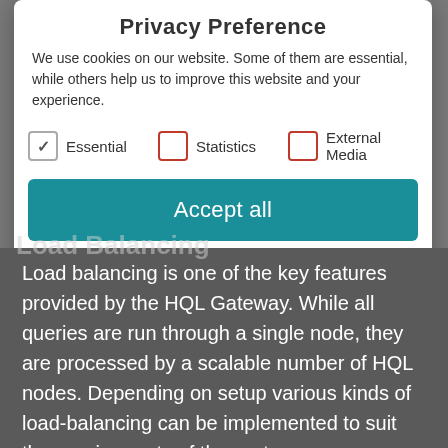Privacy Preference
We use cookies on our website. Some of them are essential, while others help us to improve this website and your experience.
Essential  Statistics  External Media
Accept all
Save
Individual Privacy Preferences
Cookie Details | Privacy Policy | Imprint
Load balancing is one of the key features provided by the HQL Gateway. While all queries are run through a single node, they are processed by a scalable number of HQL nodes. Depending on setup various kinds of load-balancing can be implemented to suit the requirements of the system.